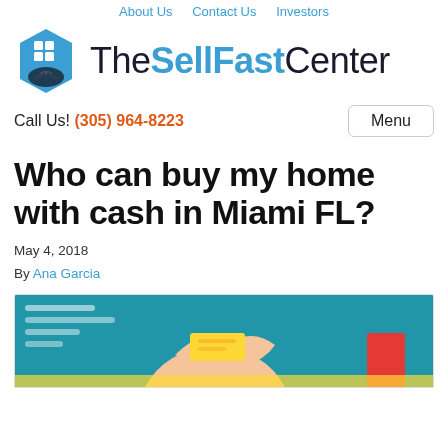About Us   Contact Us   Investors
[Figure (logo): The Sell Fast Center logo with hexagonal house icon and handshake, and text 'The Sell Fast Center']
Call Us! (305) 964-8223   Menu
Who can buy my home with cash in Miami FL?
May 4, 2018
By Ana Garcia
[Figure (illustration): Colorful flat-design illustration on teal background showing hands exchanging money/cards, with decorative text lines on left and a red card element on the right]